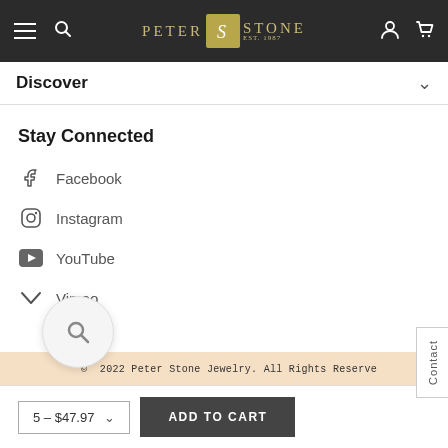Peter Stone Est. 1987 — navigation bar with hamburger, search, logo, account, cart icons
Discover
Stay Connected
Facebook
Instagram
YouTube
Vimeo
© 2022 Peter Stone Jewelry. All Rights Reserved
5 – $47.97
ADD TO CART